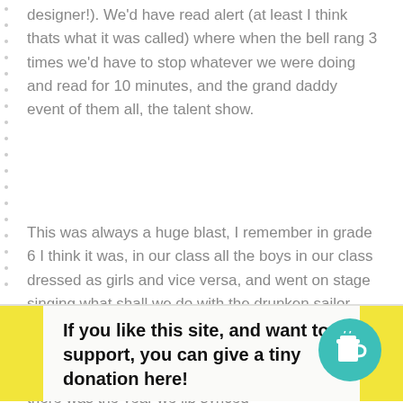designer!). We'd have read alert (at least I think thats what it was called) where when the bell rang 3 times we'd have to stop whatever we were doing and read for 10 minutes, and the grand daddy event of them all, the talent show.
This was always a huge blast, I remember in grade 6 I think it was, in our class all the boys in our class dressed as girls and vice versa, and went on stage singing what shall we do with the drunken sailor, carrying flasks filled with water and vanilla to simulate whiskey.  Maybe I've got two years combined together, I don't know anymore. Then there was the year we lip synced
If you like this site, and want to support, you can give a tiny donation here!
It may not have been education week, but some other